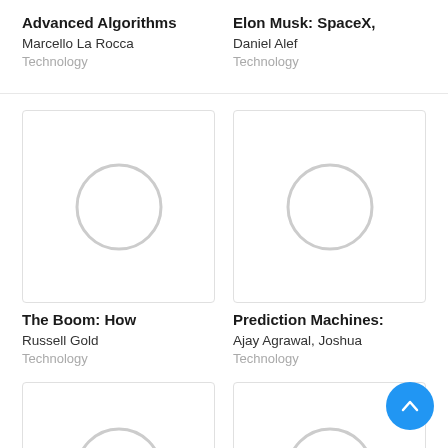Advanced Algorithms
Marcello La Rocca
Technology
Elon Musk: SpaceX,
Daniel Alef
Technology
[Figure (illustration): Book cover placeholder with circle icon for The Boom: How]
The Boom: How
Russell Gold
Technology
[Figure (illustration): Book cover placeholder with circle icon for Prediction Machines:]
Prediction Machines:
Ajay Agrawal, Joshua
Technology
[Figure (illustration): Book cover placeholder partial view bottom left]
[Figure (illustration): Book cover placeholder partial view bottom right]